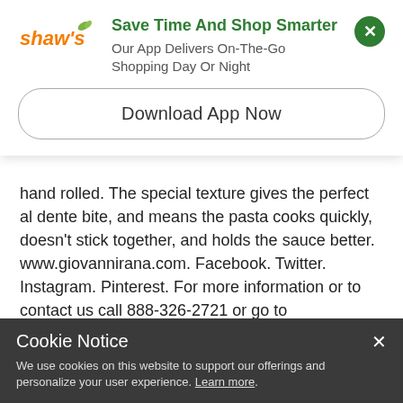[Figure (logo): Shaw's grocery store logo in orange/green italic script]
Save Time And Shop Smarter
Our App Delivers On-The-Go Shopping Day Or Night
Download App Now
hand rolled. The special texture gives the perfect al dente bite, and means the pasta cooks quickly, doesn't stick together, and holds the sauce better. www.giovannirana.com. Facebook. Twitter. Instagram. Pinterest. For more information or to contact us call 888-326-2721 or go to www.giovannirana.com. 100% cage-free eggs (Eggs from hens not raised in cages). Produced in a factory of Via Europa, 46 20083 Vigano di Gaggiano (MI) Italy. Imported from Italy. Product of Italy.
Cookie Notice
We use cookies on this website to support our offerings and personalize your user experience. Learn more.